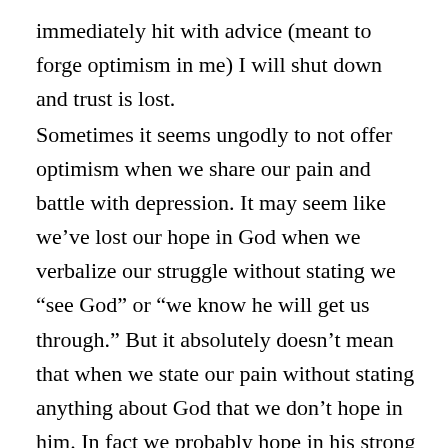immediately hit with advice (meant to forge optimism in me) I will shut down and trust is lost.
Sometimes it seems ungodly to not offer optimism when we share our pain and battle with depression. It may seem like we’ve lost our hope in God when we verbalize our struggle without stating we “see God” or “we know he will get us through.” But it absolutely doesn’t mean that when we state our pain without stating anything about God that we don’t hope in him. In fact we probably hope in his strong arm to save more than we ever have. Yes, we may not be completely confident he will pull us through, but still